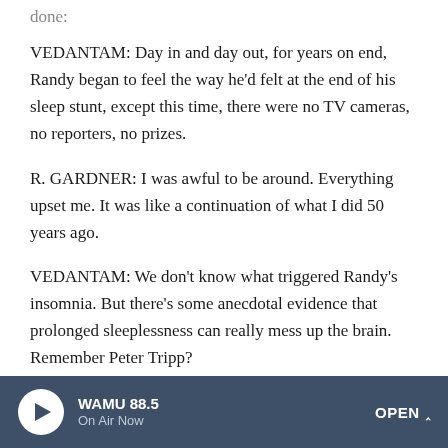done:
VEDANTAM: Day in and day out, for years on end, Randy began to feel the way he'd felt at the end of his sleep stunt, except this time, there were no TV cameras, no reporters, no prizes.
R. GARDNER: I was awful to be around. Everything upset me. It was like a continuation of what I did 50 years ago.
VEDANTAM: We don't know what triggered Randy's insomnia. But there's some anecdotal evidence that prolonged sleeplessness can really mess up the brain. Remember Peter Tripp?
(SOUNDBITE OF RADIO SHOW, "YOUR HITS OF THE
WAMU 88.5  On Air Now  OPEN ^